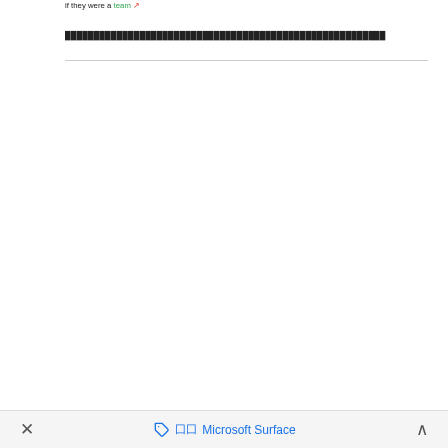if they were a team ↗
████████████████████████████████████████████████████████
× 囗囗 Microsoft Surface ∧